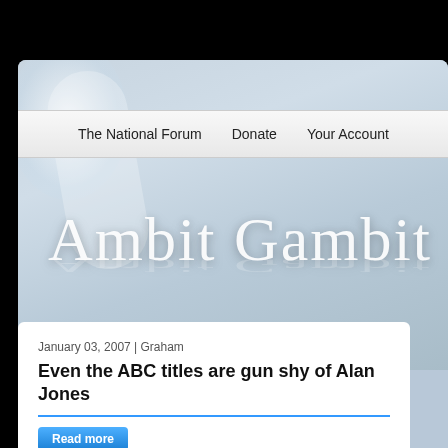The National Forum | Donate | Your Account
Ambit Gambit
Home | About
January 03, 2007 | Graham
Even the ABC titles are gun shy of Alan Jones